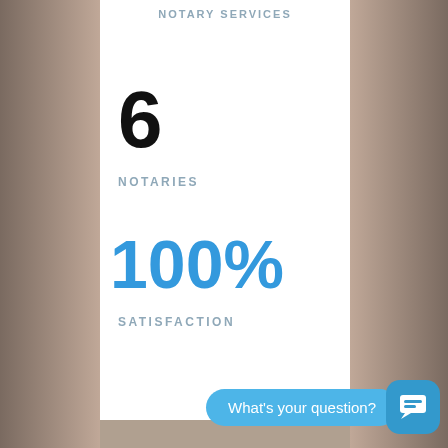NOTARY SERVICES
6
NOTARIES
100%
SATISFACTION
What's your question?